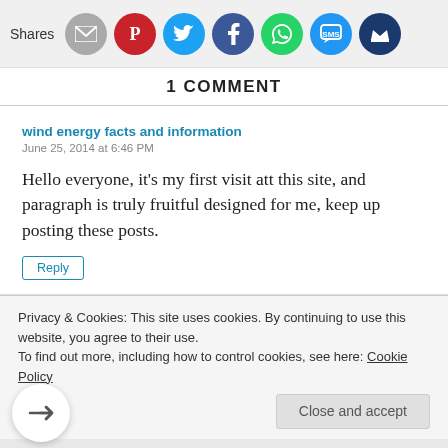[Figure (infographic): Social sharing bar with icons: email (grey), Pinterest (red), Twitter (cyan), Facebook (dark blue), WhatsApp (green), SMS (blue), and a crown/other icon (dark blue). Labeled 'Shares' on the left.]
1 COMMENT
wind energy facts and information
June 25, 2014 at 6:46 PM
Hello everyone, it’s my first visit att this site, and paragraph is truly fruitful designed for me, keep up posting these posts.
Reply
Privacy & Cookies: This site uses cookies. By continuing to use this website, you agree to their use.
To find out more, including how to control cookies, see here: Cookie Policy
Close and accept